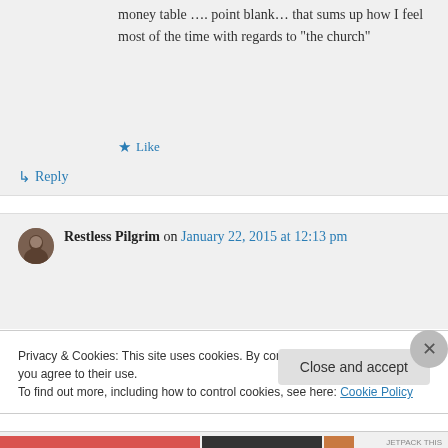money table …. point blank… that sums up how I feel most of the time with regards to “the church”
Like
↳ Reply
Restless Pilgrim on January 22, 2015 at 12:13 pm
Privacy & Cookies: This site uses cookies. By continuing to use this website, you agree to their use.
To find out more, including how to control cookies, see here: Cookie Policy
Close and accept